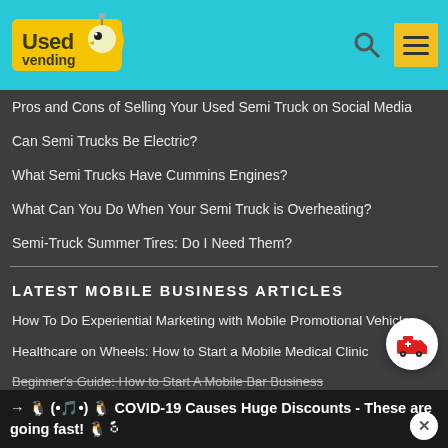UsedVending header with logo, search icon, and menu icon
Pros and Cons of Selling Your Used Semi Truck on Social Media
Can Semi Trucks Be Electric?
What Semi Trucks Have Cummins Engines?
What Can You Do When Your Semi Truck is Overheating?
Semi-Truck Summer Tires: Do I Need Them?
LATEST MOBILE BUSINESS ARTICLES
How To Do Experiential Marketing with Mobile Promotional Vehicles
Healthcare on Wheels: How to Start a Mobile Medical Clinic
Beginner's Guide: How to Start A Mobile Bar Business
Keys to Success: Building Your Own Office On Wheels
How to Get More Repeat Customers for Your Mobile Business
→ 🐧 (•🎵•) 🐧 COVID-19 Causes Huge Discounts - These are going fast! 🐧 ꩌꩃꩌꩃ